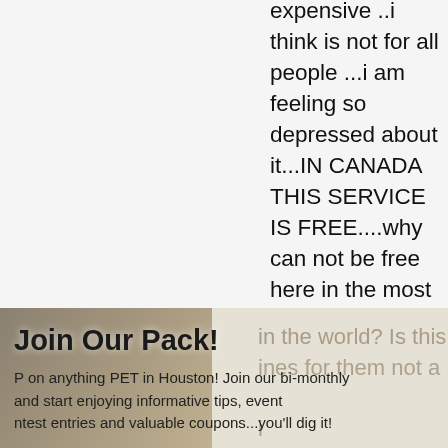expensive ..i think is not for all people ...i am feeling so depressed about it...IN CANADA THIS SERVICE IS FREE....why can not be free here in the most rich country in the world? Is this a medicines for them not a ...i am so worried for my kid...my email is
[Figure (screenshot): A popup modal overlay on a webpage. The modal shows a dog photo on the left side with sandy/outdoor background. Title reads 'Join Our Pack!' with text about joining a bi-monthly newsletter for pet owners in Houston with tips, event entries and coupons. There is an X close button in the top right. Below the modal image is an email input field with green border, text about news and updates, and a green SUBSCRIBE button. Bottom right has a gray box with an X close button.]
Join Our Pack!
on anything PET in Houston! Join our bi-monthly and start enjoying informative tips, event ntest entries and valuable coupons...you'll dig it!
news and updates.
SUBSCRIBE